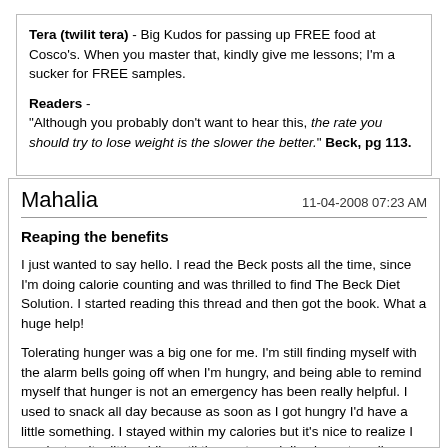Tera (twilit tera) - Big Kudos for passing up FREE food at Cosco's. When you master that, kindly give me lessons; I'm a sucker for FREE samples.

Readers -
"Although you probably don't want to hear this, the rate you should try to lose weight is the slower the better." Beck, pg 113.
Mahalia 11-04-2008 07:23 AM
Reaping the benefits
I just wanted to say hello. I read the Beck posts all the time, since I'm doing calorie counting and was thrilled to find The Beck Diet Solution. I started reading this thread and then got the book. What a huge help!
Tolerating hunger was a big one for me. I'm still finding myself with the alarm bells going off when I'm hungry, and being able to remind myself that hunger is not an emergency has been really helpful. I used to snack all day because as soon as I got hungry I'd have a little something. I stayed within my calories but it's nice to realize I can just wait a little while until the next meal. I've been traveling a ton because of that I don't worry so much if I get hungry all the time. I just tell myself "there will always be enough food".
Beck and "French Women Don't Get Fat" have been SO helpful to me.
Thanks for letting me lurk!